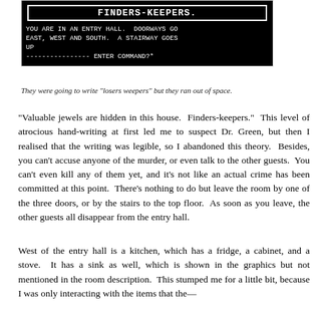[Figure (screenshot): A screenshot of a text adventure game called FINDERS-KEEPERS. Black background with white monospace text. Shows a border-framed title 'FINDERS-KEEPERS.' and room description: 'YOU ARE IN AN ENTRY HALL. DOORWAYS GO EAST, WEST AND SOUTH. A STAIRWAY GOES UP' followed by a dashed line and 'ENTER COMMAND?*' prompt.]
They were going to write "losers weepers" but they ran out of space.
"Valuable jewels are hidden in this house. Finders-keepers." This level of atrocious hand-writing at first led me to suspect Dr. Green, but then I realised that the writing was legible, so I abandoned this theory. Besides, you can't accuse anyone of the murder, or even talk to the other guests. You can't even kill any of them yet, and it's not like an actual crime has been committed at this point. There's nothing to do but leave the room by one of the three doors, or by the stairs to the top floor. As soon as you leave, the other guests all disappear from the entry hall.
West of the entry hall is a kitchen, which has a fridge, a cabinet, and a stove. It has a sink as well, which is shown in the graphics but not mentioned in the room description. This stumped me for a little bit, because I was only interacting with the items that the game—content of item—content continuing...